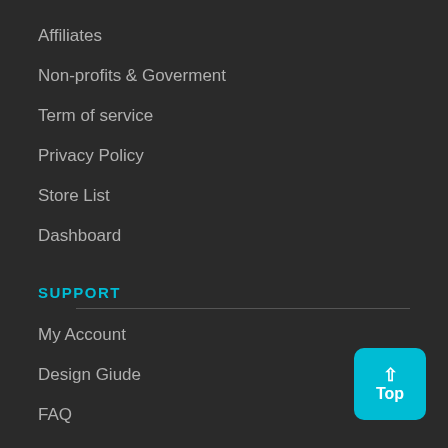Affiliates
Non-profits & Goverment
Term of service
Privacy Policy
Store List
Dashboard
SUPPORT
My Account
Design Giude
FAQ
Design Services
Contact Us